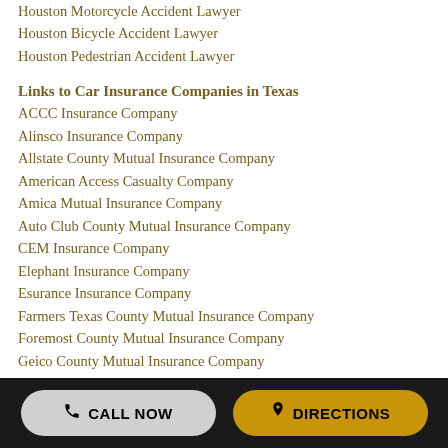Houston Motorcycle Accident Lawyer
Houston Bicycle Accident Lawyer
Houston Pedestrian Accident Lawyer
Links to Car Insurance Companies in Texas
ACCC Insurance Company
Alinsco Insurance Company
Allstate County Mutual Insurance Company
American Access Casualty Company
Amica Mutual Insurance Company
Auto Club County Mutual Insurance Company
CEM Insurance Company
Elephant Insurance Company
Esurance Insurance Company
Farmers Texas County Mutual Insurance Company
Foremost County Mutual Insurance Company
Geico County Mutual Insurance Company
Germania Select Insurance Company
Home State County Mutual Insurance Company
Infinity County Mutual Insurance Company
CALL NOW   DIRECTIONS